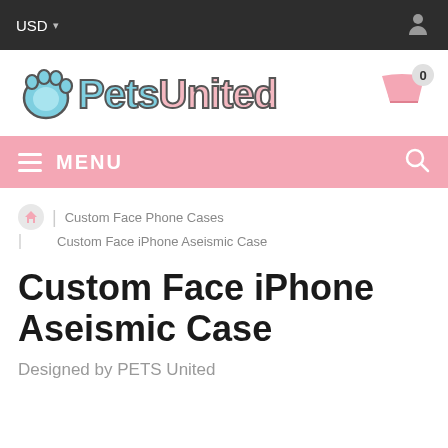USD ▾
[Figure (logo): PetsUnited logo with paw print icon, blue and pink text with dark outline, and shopping cart with 0 badge]
≡ MENU 🔍
Custom Face Phone Cases | Custom Face iPhone Aseismic Case
Custom Face iPhone Aseismic Case
Designed by PETS United